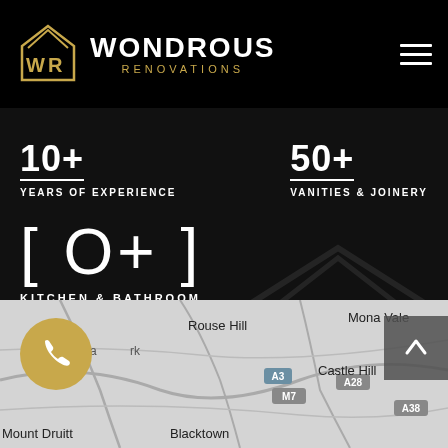[Figure (logo): Wondrous Renovations logo with WR house icon in gold and black]
WONDROUS RENOVATIONS
YEARS OF EXPERIENCE
VANITIES & JOINERY
[0+]
KITCHEN & BATHROOM
[Figure (map): Greyscale map showing Sydney regions including Rouse Hill, Mona Vale, Castle Hill, Blacktown, Mount Druitt with road labels M7, A3, A28, A38]
[Figure (other): Gold circular phone call button]
[Figure (other): Grey scroll-to-top arrow button]